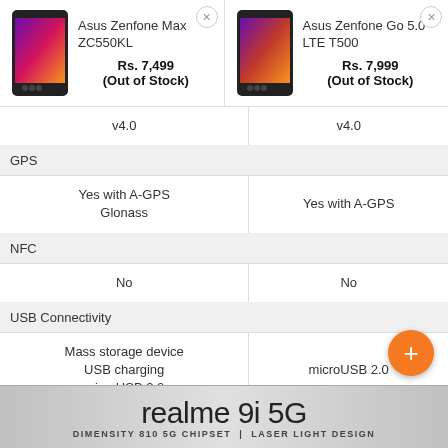| Asus Zenfone Max ZC550KL Rs. 7,499 (Out of Stock) | Asus Zenfone Go 5.0 LTE T500 Rs. 7,999 (Out of Stock) |
| --- | --- |
| v4.0 | v4.0 |
| GPS |  |
| Yes with A-GPS Glonass | Yes with A-GPS |
| NFC |  |
| No | No |
| USB Connectivity |  |
| Mass storage device USB charging microUSB 2.0 | microUSB 2.0 |
[Figure (screenshot): Ad banner for realme 9i 5G with tagline DIMENSITY 810 5G CHIPSET | LASER LIGHT DESIGN]